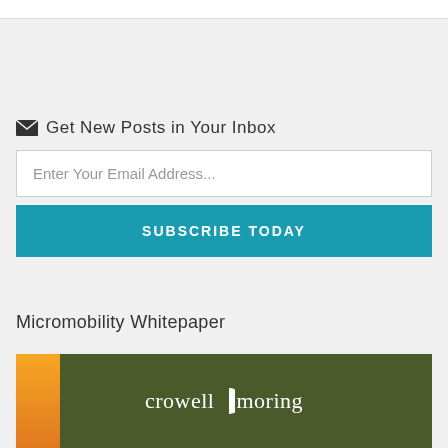Get New Posts in Your Inbox
Enter Your Email Address...
SUBSCRIBE TODAY
Micromobility Whitepaper
[Figure (logo): Crowell Moring law firm logo on dark olive green background with orange accent bar on left side]